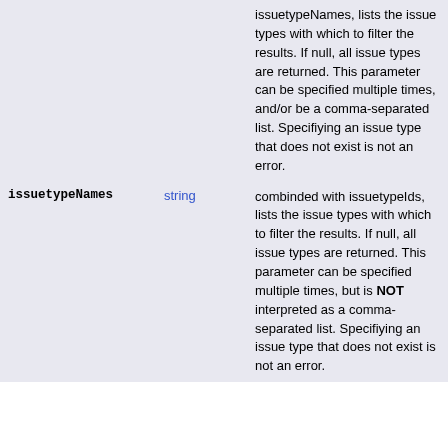| Parameter | Type | Description |
| --- | --- | --- |
|  |  | issuetypeNames, lists the issue types with which to filter the results. If null, all issue types are returned. This parameter can be specified multiple times, and/or be a comma-separated list. Specifiying an issue type that does not exist is not an error. |
| issuetypeNames | string | combinded with issuetypeIds, lists the issue types with which to filter the results. If null, all issue types are returned. This parameter can be specified multiple times, but is NOT interpreted as a comma-separated list. Specifiying an issue type that does not exist is not an error. |